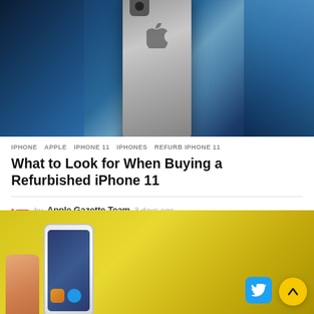[Figure (photo): Close-up photo of an iPhone (likely iPhone 11) showing the back of the device with Apple logo and camera, with blue and gray background tones]
IPHONE  APPLE  IPHONE 11  IPHONES  REFURB IPHONE 11
What to Look for When Buying a Refurbished iPhone 11
by Apple Gazette Team 3 days ago
[Figure (photo): Photo of hands holding a smartphone with social media app icons visible on screen, yellow background]